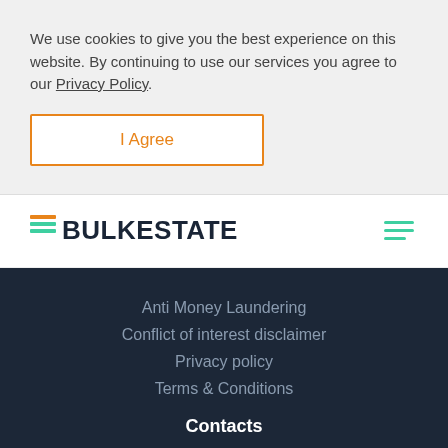We use cookies to give you the best experience on this website. By continuing to use our services you agree to our Privacy Policy.
I Agree
[Figure (logo): Bulkestate logo with teal/yellow striped icon and dark navy bold text 'BULKESTATE', plus hamburger menu icon on the right]
Anti Money Laundering
Conflict of interest disclaimer
Privacy policy
Terms & Conditions
Contacts
Contact us
Become a partner